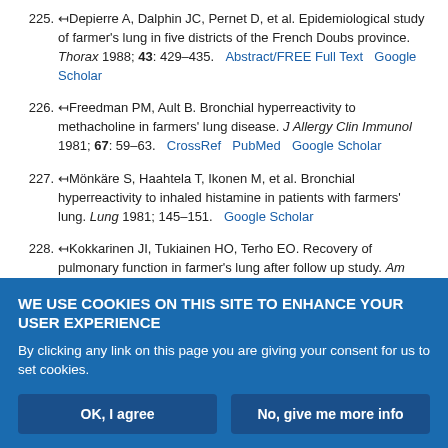225. Depierre A, Dalphin JC, Pernet D, et al. Epidemiological study of farmer's lung in five districts of the French Doubs province. Thorax 1988; 43: 429–435. Abstract/FREE Full Text Google Scholar
226. Freedman PM, Ault B. Bronchial hyperreactivity to methacholine in farmers' lung disease. J Allergy Clin Immunol 1981; 67: 59–63. CrossRef PubMed Google Scholar
227. Mönkäre S, Haahtela T, Ikonen M, et al. Bronchial hyperreactivity to inhaled histamine in patients with farmers' lung. Lung 1981; 145–151. Google Scholar
228. Kokkarinen JI, Tukiainen HO, Terho EO. Recovery of pulmonary function in farmer's lung...
WE USE COOKIES ON THIS SITE TO ENHANCE YOUR USER EXPERIENCE
By clicking any link on this page you are giving your consent for us to set cookies.
OK, I agree   No, give me more info